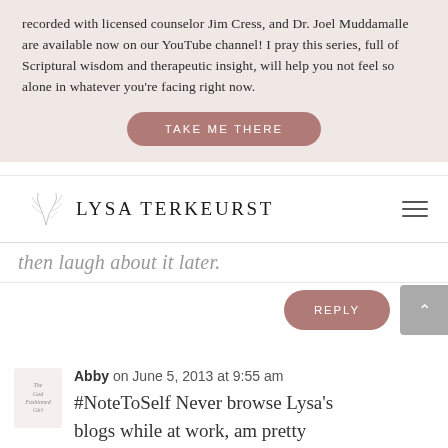recorded with licensed counselor Jim Cress, and Dr. Joel Muddamalle are available now on our YouTube channel! I pray this series, full of Scriptural wisdom and therapeutic insight, will help you not feel so alone in whatever you're facing right now.
TAKE ME THERE
[Figure (logo): Lysa TerKeurst website logo with decorative leaf/branch illustration and hamburger menu icon]
then laugh about it later.
REPLY
Abby on June 5, 2013 at 9:55 am
#NoteToSelf Never browse Lysa's blogs while at work, am pretty